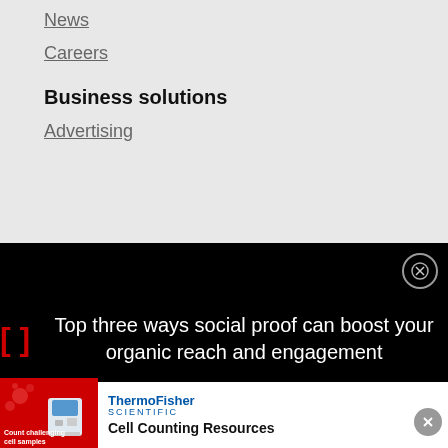News
Careers
Business solutions
Advertising
[Figure (screenshot): Black popup overlay with red bracket icon and white text reading 'Top three ways social proof can boost your organic reach and engagement', with a close button (X circle) in the top right corner.]
[Figure (infographic): ThermoFisher Scientific advertisement banner. Left side shows red background with white text 'Count challenging cell samples' and an image of a cell counting instrument. Right side shows ThermoFisher Scientific logo and text 'Cell Counting Resources'.]